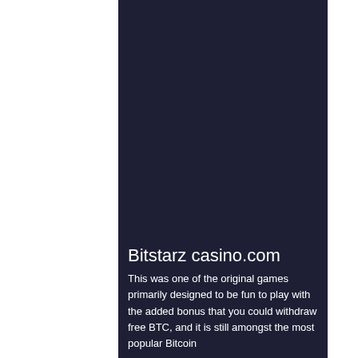[Figure (photo): Dark navy blue background panel occupying the upper portion of the page, resembling a screenshot of a website or app interface.]
Bitstarz casino.com
This was one of the original games primarily designed to be fun to play with the added bonus that you could withdraw free BTC, and it is still amongst the most popular Bitcoin